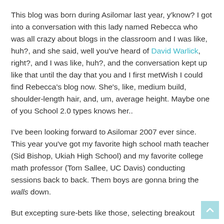This blog was born during Asilomar last year, y'know? I got into a conversation with this lady named Rebecca who was all crazy about blogs in the classroom and I was like, huh?, and she said, well you've heard of David Warlick, right?, and I was like, huh?, and the conversation kept up like that until the day that you and I first metWish I could find Rebecca's blog now. She's, like, medium build, shoulder-length hair, and, um, average height. Maybe one of you School 2.0 types knows her..
I've been looking forward to Asilomar 2007 ever since. This year you've got my favorite high school math teacher (Sid Bishop, Ukiah High School) and my favorite college math professor (Tom Sallee, UC Davis) conducting sessions back to back. Them boys are gonna bring the walls down.
But excepting sure-bets like those, selecting breakout